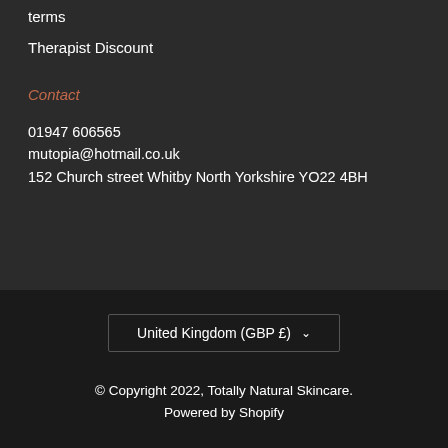terms
Therapist Discount
Contact
01947 606565
mutopia@hotmail.co.uk
152 Church street Whitby North Yorkshire YO22 4BH
United Kingdom (GBP £)
© Copyright 2022, Totally Natural Skincare. Powered by Shopify